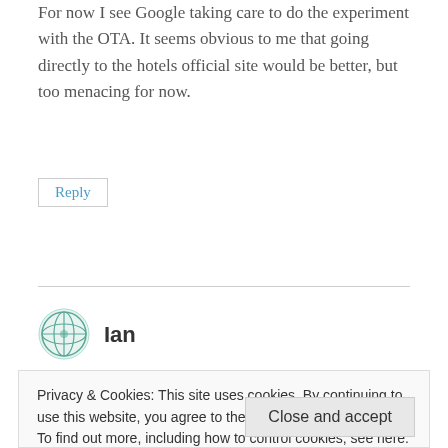For now I see Google taking care to do the experiment with the OTA. It seems obvious to me that going directly to the hotels official site would be better, but too menacing for now.
Reply
[Figure (other): User avatar icon for commenter Ian — circular globe/network icon in teal/green colors]
Ian
Privacy & Cookies: This site uses cookies. By continuing to use this website, you agree to their use.
To find out more, including how to control cookies, see here: Cookie Policy
Close and accept
is not structured and can be processed into a